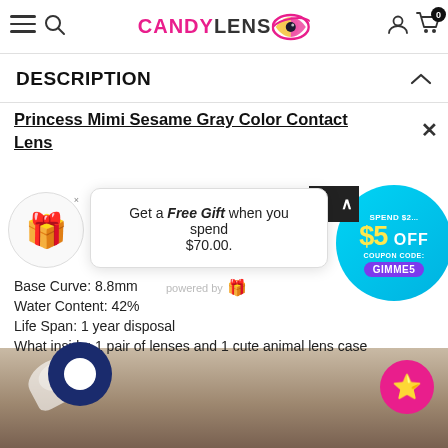CANDYLENS - navigation header with hamburger, search, logo, account, cart
DESCRIPTION
Princess Mimi Sesame Gray Color Contact Lens
Get a Free Gift when you spend $70.00.
Base Curve: 8.8mm
Water Content: 42%
Life Span: 1 year disposal
What inside: 1 pair of lenses and 1 cute animal lens case
[Figure (infographic): Cyan promotional circle: SPEND $2... $5 OFF, COUPON CODE: GIMME5]